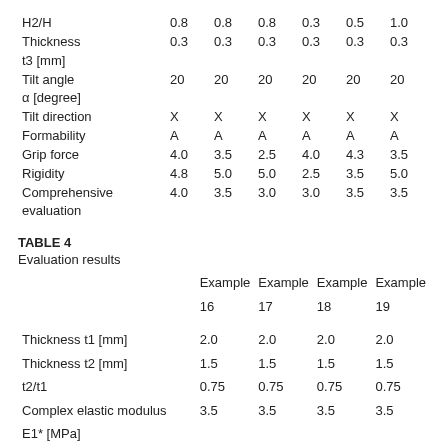|  | col1 | col2 | col3 | col4 | col5 | col6 |
| --- | --- | --- | --- | --- | --- | --- |
| H2/H | 0.8 | 0.8 | 0.8 | 0.3 | 0.5 | 1.0 |
| Thickness t3 [mm] | 0.3 | 0.3 | 0.3 | 0.3 | 0.3 | 0.3 |
| Tilt angle α [degree] | 20 | 20 | 20 | 20 | 20 | 20 |
| Tilt direction | X | X | X | X | X | X |
| Formability | A | A | A | A | A | A |
| Grip force | 4.0 | 3.5 | 2.5 | 4.0 | 4.3 | 3.5 |
| Rigidity | 4.8 | 5.0 | 5.0 | 2.5 | 3.5 | 5.0 |
| Comprehensive evaluation | 4.0 | 3.5 | 3.0 | 3.0 | 3.5 | 3.5 |
TABLE 4
Evaluation results
|  | Example 16 | Example 17 | Example 18 | Example 19 |
| --- | --- | --- | --- | --- |
| Thickness t1 [mm] | 2.0 | 2.0 | 2.0 | 2.0 |
| Thickness t2 [mm] | 1.5 | 1.5 | 1.5 | 1.5 |
| t2/t1 | 0.75 | 0.75 | 0.75 | 0.75 |
| Complex elastic modulus | 3.5 | 3.5 | 3.5 | 3.5 |
| E1* [MPa] |  |  |  |  |